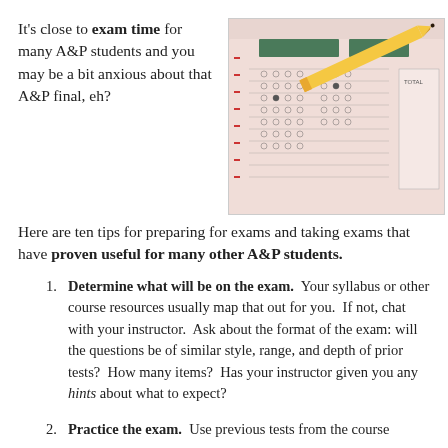It's close to exam time for many A&P students and you may be a bit anxious about that A&P final, eh?
[Figure (photo): Close-up photo of a scantron/bubble answer sheet with a pencil resting on it]
Here are ten tips for preparing for exams and taking exams that have proven useful for many other A&P students.
Determine what will be on the exam. Your syllabus or other course resources usually map that out for you, If not, chat with your instructor. Ask about the format of the exam: will the questions be of similar style, range, and depth of prior tests? How many items? Has your instructor given you any hints about what to expect?
Practice the exam. Use previous tests from the course